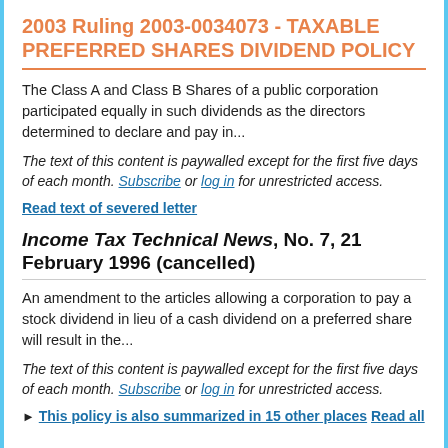2003 Ruling 2003-0034073 - TAXABLE PREFERRED SHARES DIVIDEND POLICY
The Class A and Class B Shares of a public corporation participated equally in such dividends as the directors determined to declare and pay in...
The text of this content is paywalled except for the first five days of each month. Subscribe or log in for unrestricted access.
Read text of severed letter
Income Tax Technical News, No. 7, 21 February 1996 (cancelled)
An amendment to the articles allowing a corporation to pay a stock dividend in lieu of a cash dividend on a preferred share will result in the...
The text of this content is paywalled except for the first five days of each month. Subscribe or log in for unrestricted access.
▶ This policy is also summarized in 15 other places Read all